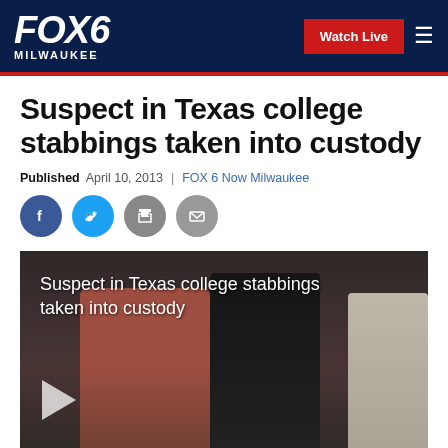FOX6 MILWAUKEE — Watch Live
Suspect in Texas college stabbings taken into custody
Published April 10, 2013 | FOX 6 Now Milwaukee
[Figure (screenshot): Social share icons: Facebook, Twitter, Print, Email]
[Figure (photo): Video thumbnail showing suspect being taken into custody, with overlay text 'Suspect in Texas college stabbings taken into custody' and a play button]